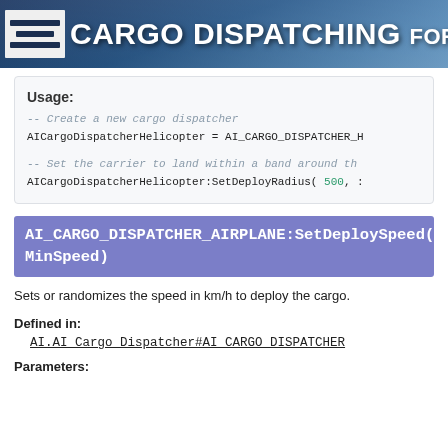AI CARGO DISPATCHING for AIRPLANES
Usage:
-- Create a new cargo dispatcher
AICargoDispatcherHelicopter = AI_CARGO_DISPATCHER_H
-- Set the carrier to land within a band around th
AICargoDispatcherHelicopter:SetDeployRadius( 500, :
AI_CARGO_DISPATCHER_AIRPLANE:SetDeploySpeed(M
MinSpeed)
Sets or randomizes the speed in km/h to deploy the cargo.
Defined in:
AI.AI_Cargo_Dispatcher#AI_CARGO_DISPATCHER
Parameters: